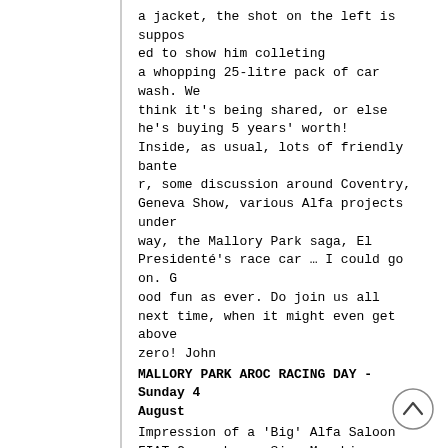a jacket, the shot on the left is supposed to show him colleting
a whopping 25-litre pack of car wash. We think it's being shared, or else
he's buying 5 years' worth!
Inside, as usual, lots of friendly banter, some discussion around Coventry,
Geneva Show, various Alfa projects under way, the Mallory Park saga, El
Presidenté's race car … I could go on. Good fun as ever. Do join us all
next time, when it might even get above zero! John
MALLORY PARK AROC RACING DAY - Sunday 4 August
Impression of a 'Big' Alfa Saloon
FIAT Group boss, Sig. Marchionne, has openly
stated that the co-operation will extend beyond
the exciting coupé and that, where logical,
various sharing between brands will take place.